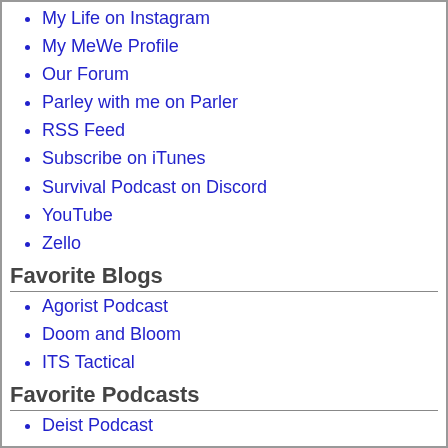My Life on Instagram
My MeWe Profile
Our Forum
Parley with me on Parler
RSS Feed
Subscribe on iTunes
Survival Podcast on Discord
YouTube
Zello
Favorite Blogs
Agorist Podcast
Doom and Bloom
ITS Tactical
Favorite Podcasts
Deist Podcast
Survival Resources
Citizens Assisting Citizens
The Survival Wiki
Recent Comments